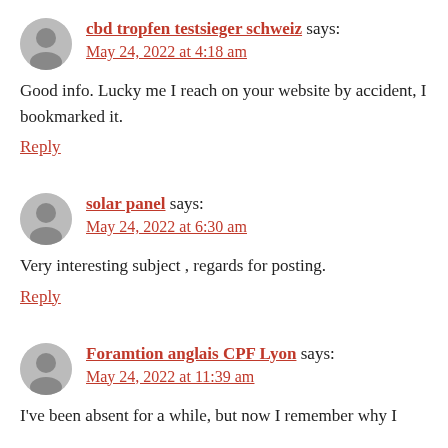cbd tropfen testsieger schweiz says:
May 24, 2022 at 4:18 am
Good info. Lucky me I reach on your website by accident, I bookmarked it.
Reply
solar panel says:
May 24, 2022 at 6:30 am
Very interesting subject , regards for posting.
Reply
Foramtion anglais CPF Lyon says:
May 24, 2022 at 11:39 am
I've been absent for a while, but now I remember why I